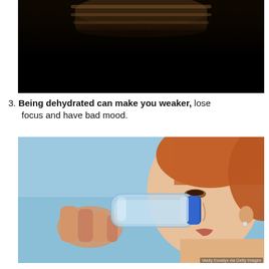[Figure (photo): Dark photo showing a stacked surface, mostly black background with some brown/golden object visible at top. Top portion of previous list item's image.]
3. Being dehydrated can make you weaker, lose focus and have bad mood.
[Figure (photo): Photo of a woman drinking water from a blue-capped plastic bottle, with a blue sky background. Credit: Vasily Kovalyv via Getty Images.]